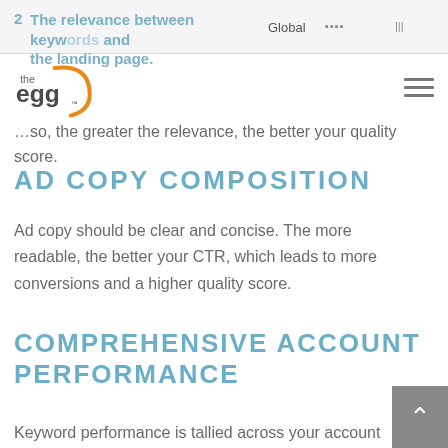2. The relevance between keywords and the landing page. | Global | [nav icons]
[Figure (logo): The Egg logo - stylized text 'the egg' with orange arc]
so, the greater the relevance, the better your quality score.
AD COPY COMPOSITION
Ad copy should be clear and concise. The more readable, the better your CTR, which leads to more conversions and a higher quality score.
COMPREHENSIVE ACCOUNT PERFORMANCE
Keyword performance is tallied across your account